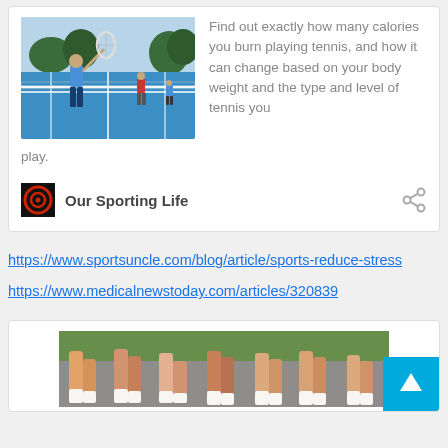[Figure (photo): Tennis players on a blue outdoor court, one player mid-swing with racket]
Find out exactly how many calories you burn playing tennis, and how it can change based on your body weight and the type and level of tennis you play.
Our Sporting Life
https://www.sportsuncle.com/blog/article/sports-reduce-stress
https://www.medicalnewstoday.com/articles/320839
[Figure (photo): Runners' legs in motion on a road race, blurred action shot]